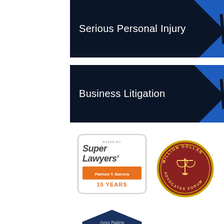[Figure (infographic): Dark navy banner with 'Serious Personal Injury' text in white and blue geometric accent on right]
[Figure (infographic): Dark navy banner with 'Business Litigation' text in white and blue geometric accent on right]
[Figure (infographic): Super Lawyers badge: white rounded rectangle with 'RATED BY' small text, 'Super Lawyers' large text, orange banner with 'Patricio T. Barrera', and '15 YEARS' text below]
[Figure (logo): Million Dollar Advocates Forum circular seal with gold balance scales on dark red/maroon background with gold border text]
[Figure (infographic): Avvo Rating badge: hexagonal/shield shape in dark navy, 'Avvo Rating' text, '10.0' in large red text, 'Patricio Barrera' and 'Top Attorney' on banner ribbons]